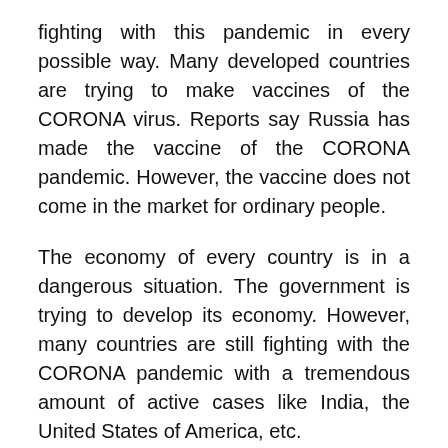fighting with this pandemic in every possible way. Many developed countries are trying to make vaccines of the CORONA virus. Reports say Russia has made the vaccine of the CORONA pandemic. However, the vaccine does not come in the market for ordinary people.
The economy of every country is in a dangerous situation. The government is trying to develop its economy. However, many countries are still fighting with the CORONA pandemic with a tremendous amount of active cases like India, the United States of America, etc.
In India, the cases of CORONA is increasing day by day. Every day more than ninety thousand new cases are coming in all over the country. The government of